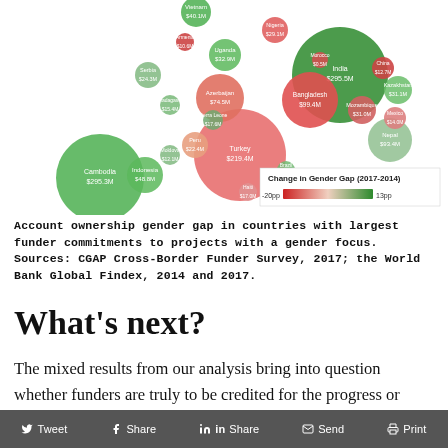[Figure (bubble-chart): Bubble chart showing countries as circles sized by funder commitment, colored by change in gender gap (2017-2014). Red circles indicate negative change, green indicates positive. Countries include India ($295.5M), Turkey ($219.4M), Cambodia ($295.3M), Bangladesh ($99.4M), Azerbaijan ($74.5M), Uganda ($32.9M), Indonesia ($48.8M), Nepal ($93.4M), Kazakhstan ($31.1M), Mozambique ($31.0M), Nigeria ($29.1M), Serbia ($24.3M), Vietnam ($40.1M), Peru ($22.4M), Sierra Leone ($17.6M), Moldova ($12.1M), Haiti ($17.0M), Brazil ($15.7M), Armenia ($10.6M), China ($12.7M), Mexico ($14.0M), Morocco ($0.5M). Legend shows Change in Gender Gap (2017-2014), -20pp (red) to 13pp (green).]
Account ownership gender gap in countries with largest funder commitments to projects with a gender focus. Sources: CGAP Cross-Border Funder Survey, 2017; the World Bank Global Findex, 2014 and 2017.
What’s next?
The mixed results from our analysis bring into question whether funders are truly to be credited for the progress or regress that
Tweet   Share   Share   Send   Print